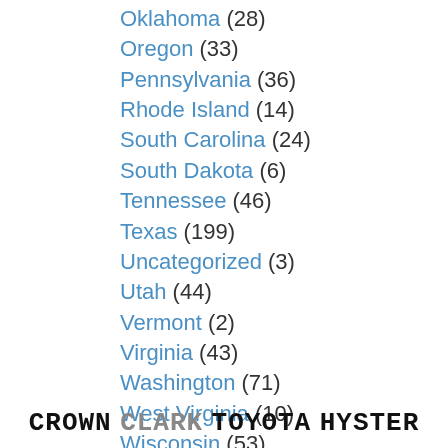Oklahoma (28)
Oregon (33)
Pennsylvania (36)
Rhode Island (14)
South Carolina (24)
South Dakota (6)
Tennessee (46)
Texas (199)
Uncategorized (3)
Utah (44)
Vermont (2)
Virginia (43)
Washington (71)
West Virginia (10)
Wisconsin (53)
Wyoming (7)
CROWN CLARK TOYOTA HYSTER